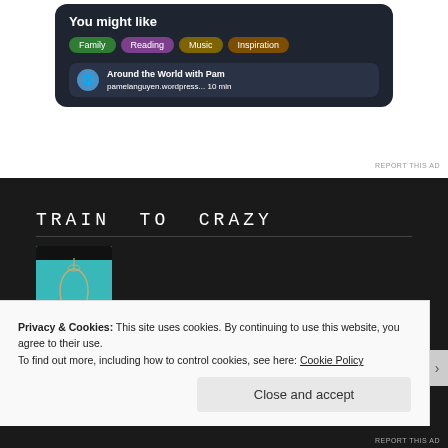[Figure (screenshot): WordPress app recommendation card showing 'You might like' with category pills: Family, Reading, Music, Inspiration, and a blog entry 'Around the World with Pam' on pamelanguyen.wordpress... 10 min]
REPORT THIS AD
TRAIN TO CRAZY
[Figure (photo): Book cover thumbnail with teal background showing 'Make it' in script font, with dark header strip at top]
Privacy & Cookies: This site uses cookies. By continuing to use this website, you agree to their use.
To find out more, including how to control cookies, see here: Cookie Policy
Close and accept
REPORT THIS AD